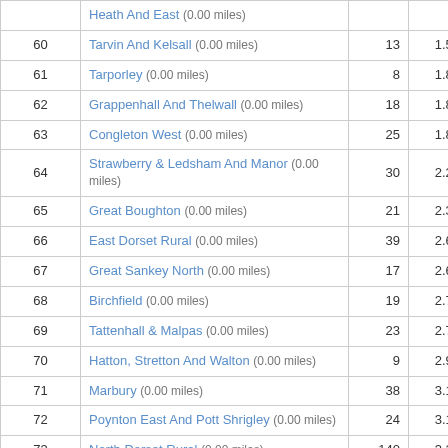| # | Name |  |  |
| --- | --- | --- | --- |
|  | Heath And East (0.00 miles) |  |  |
| 60 | Tarvin And Kelsall (0.00 miles) | 13 | 1.57 |
| 61 | Tarporley (0.00 miles) | 8 | 1.81 |
| 62 | Grappenhall And Thelwall (0.00 miles) | 18 | 1.86 |
| 63 | Congleton West (0.00 miles) | 25 | 1.89 |
| 64 | Strawberry & Ledsham And Manor (0.00 miles) | 30 | 2.29 |
| 65 | Great Boughton (0.00 miles) | 21 | 2.34 |
| 66 | East Dorset Rural (0.00 miles) | 39 | 2.60 |
| 67 | Great Sankey North (0.00 miles) | 17 | 2.66 |
| 68 | Birchfield (0.00 miles) | 19 | 2.74 |
| 69 | Tattenhall & Malpas (0.00 miles) | 23 | 2.77 |
| 70 | Hatton, Stretton And Walton (0.00 miles) | 9 | 2.91 |
| 71 | Marbury (0.00 miles) | 38 | 3.15 |
| 72 | Poynton East And Pott Shrigley (0.00 miles) | 24 | 3.19 |
| 73 | North Dorset Rural (0.00 miles) | 140 | 3.21 |
| 74 | Newton (0.00 miles) | 21 | 3.22 |